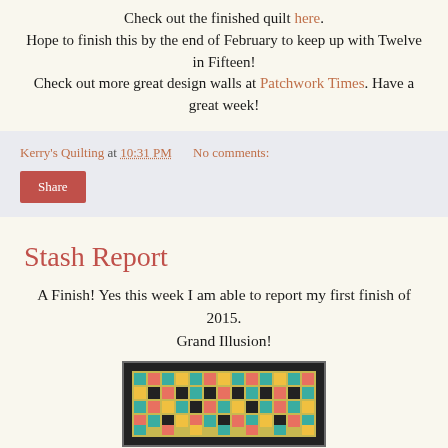Check out the finished quilt here. Hope to finish this by the end of February to keep up with Twelve in Fifteen! Check out more great design walls at Patchwork Times. Have a great week!
Kerry's Quilting at 10:31 PM   No comments:
Share
Stash Report
A Finish! Yes this week I am able to report my first finish of 2015. Grand Illusion!
[Figure (photo): Photo of a colorful quilt with geometric pattern featuring teal, black, multicolor patchwork with a border.]